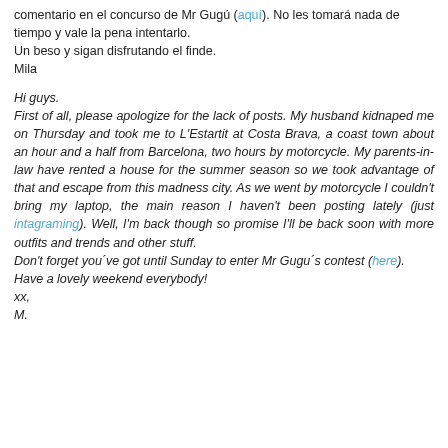comentario en el concurso de Mr Gugú (aquí). No les tomará nada de tiempo y vale la pena intentarlo.
Un beso y sigan disfrutando el finde.
Mila
Hi guys.
First of all, please apologize for the lack of posts. My husband kidnaped me on Thursday and took me to L'Estartit at Costa Brava, a coast town about an hour and a half from Barcelona, two hours by motorcycle. My parents-in-law have rented a house for the summer season so we took advantage of that and escape from this madness city. As we went by motorcycle I couldn't bring my laptop, the main reason I haven't been posting lately (just intagraming). Well, I'm back though so promise I'll be back soon with more outfits and trends and other stuff.
Don't forget you´ve got until Sunday to enter Mr Gugu´s contest (here).
Have a lovely weekend everybody!
xx,
M.